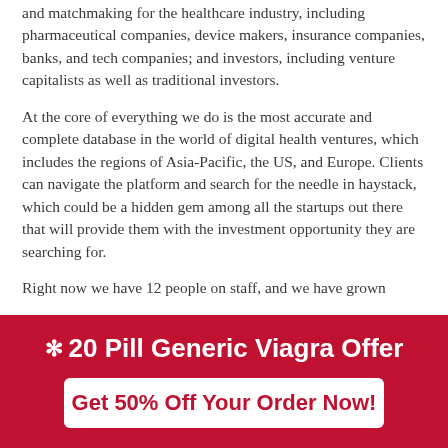and matchmaking for the healthcare industry, including pharmaceutical companies, device makers, insurance companies, banks, and tech companies; and investors, including venture capitalists as well as traditional investors.
At the core of everything we do is the most accurate and complete database in the world of digital health ventures, which includes the regions of Asia-Pacific, the US, and Europe. Clients can navigate the platform and search for the needle in haystack, which could be a hidden gem among all the startups out there that will provide them with the investment opportunity they are searching for.
Right now we have 12 people on staff, and we have grown
[Figure (infographic): Red advertisement banner with white text reading '20 Pill Generic Viagra Offer' with a bullet point, and a white rounded button with red text 'Get 50% Off Your Order Now!']